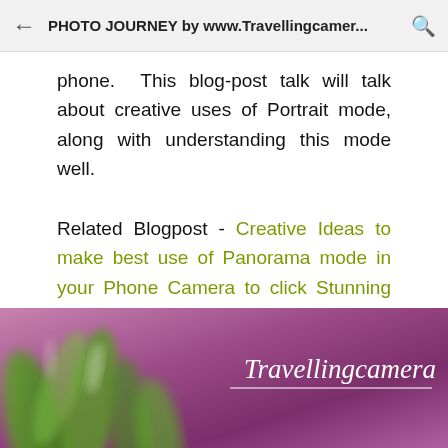PHOTO JOURNEY by www.Travellingcamer...
phone. This blog-post talk will talk about creative uses of Portrait mode, along with understanding this mode well.
Related Blogpost - Creative Ideas to make best use of Panorama mode in your Phone Camera to click Stunning Photographs
[Figure (photo): Promotional image for Travellingcamera blog showing blurred green plant stems against a purple/magenta background with the Travellingcamera logo in white italic text on the right side]